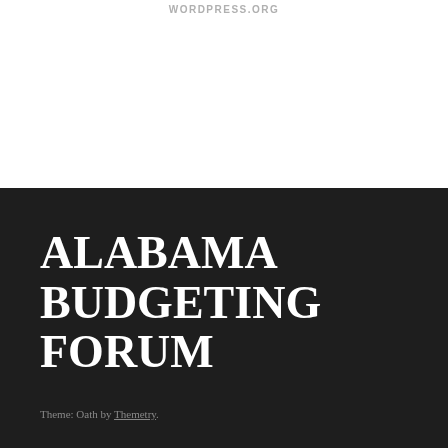WORDPRESS.ORG
ALABAMA BUDGETING FORUM
Theme: Oath by Themetry.